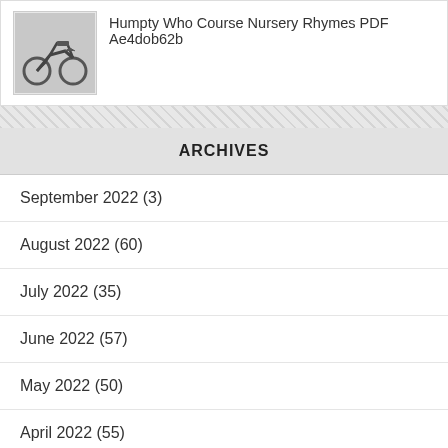[Figure (photo): Motorcycle thumbnail image]
Humpty Who Course Nursery Rhymes PDF Ae4dob62b
ARCHIVES
September 2022 (3)
August 2022 (60)
July 2022 (35)
June 2022 (57)
May 2022 (50)
April 2022 (55)
March 2022 (37)
February 2022 (42)
January 2022 (63)
December 2021 (52)